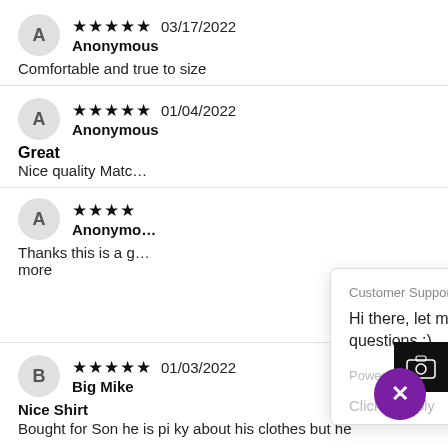★★★★★ 03/17/2022 Anonymous — Comfortable and true to size
★★★★★ 01/04/2022 Anonymous — Great — Nice quality Matc…
★★★☆☆ … Anonymous — Thanks this is a g… more
★★★★★ 01/03/2022 Big Mike — Nice Shirt — Bought for Son he is pi ky about his clothes but he
Customer Support: Hi there, let me know if you have any questions :) — Powered by gorgias — Click to reply